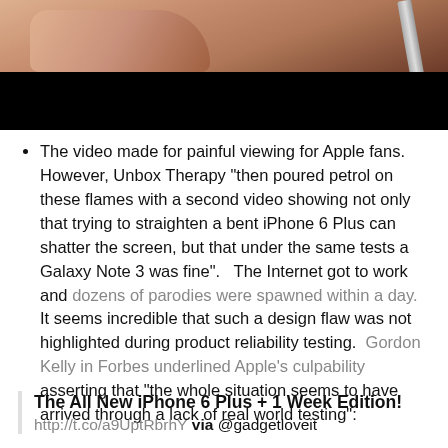[Figure (photo): Top portion of a photo showing a hand/fingers and a pen/stylus against a black background bar]
The video made for painful viewing for Apple fans. However, Unbox Therapy “then poured petrol on these flames with a second video showing not only that trying to straighten a bent iPhone 6 Plus can shatter the screen, but that under the same tests a Galaxy Note 3 was fine”.   The Internet got to work and dozens of parodies were spawned within a day.  It seems incredible that such a design flaw was not highlighted during product reliability testing.  Gordon Kelly in Forbes underlined Apple’s culpability asserting that “the whole situation seems to have arrived through a lack of real world testing”:
The All New iPhone 6 Plus + 1 Week Edition!
http://t.co/a9UptRbrhY via @gadgetloveit